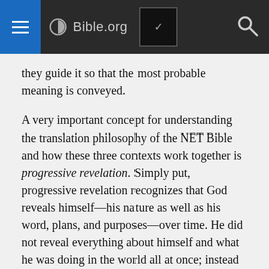Bible.org
they guide it so that the most probable meaning is conveyed.
A very important concept for understanding the translation philosophy of the NET Bible and how these three contexts work together is progressive revelation. Simply put, progressive revelation recognizes that God reveals himself—his nature as well as his word, plans, and purposes—over time. He did not reveal everything about himself and what he was doing in the world all at once; instead he graciously revealed more and more as time went on. Later revelation serves to complement and supplement what has come before. The relation of this reality to translation work creates a great deal of tension, especially as it relates to the theological context, because certain earlier passages are clarified